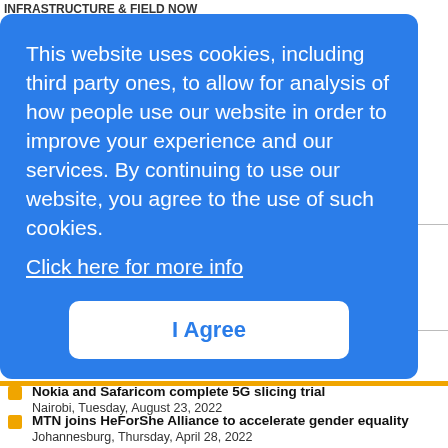INFRASTRUCTURE & FIELD NOW
This website uses cookies, including third party ones, to allow for analysis of how people use our website in order to improve your experience and our services. By continuing to use our website, you agree to the use of such cookies. Click here for more info
I Agree
ame the
celerated
industry announcements
Nokia and Safaricom complete 5G slicing trial
Nairobi, Tuesday, August 23, 2022
MTN joins HeForShe Alliance to accelerate gender equality
Johannesburg, Thursday, April 28, 2022
DabaDoc and Orange launch health-tech service for African diaspora
Paris , Friday, April 1, 2022